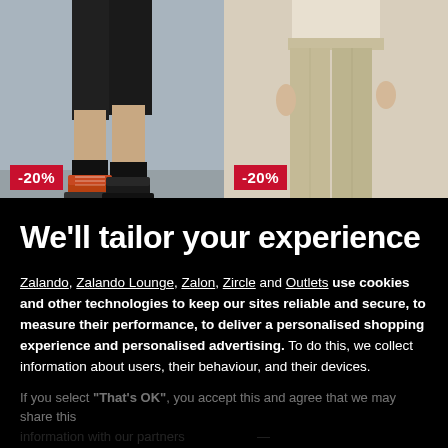[Figure (photo): Two product photos side by side. Left: man's lower half wearing black shorts and orange/black boots, grey concrete wall background, red badge '-20%'. Right: woman's lower half wearing beige trousers, beige background, red badge '-20%'.]
We'll tailor your experience
Zalando, Zalando Lounge, Zalon, Zircle and Outlets use cookies and other technologies to keep our sites reliable and secure, to measure their performance, to deliver a personalised shopping experience and personalised advertising. To do this, we collect information about users, their behaviour, and their devices.
If you select "That's OK", you accept this and agree that we may share this information with our partners.
Only essential
Set preferences
That's OK